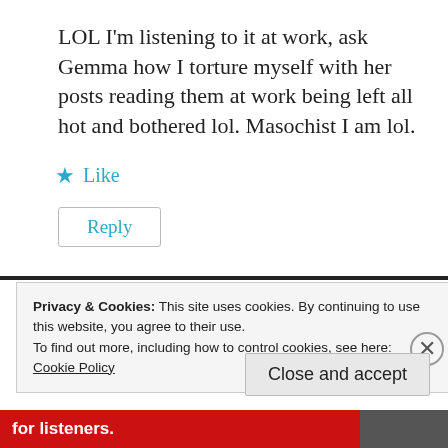LOL I'm listening to it at work, ask Gemma how I torture myself with her posts reading them at work being left all hot and bothered lol. Masochist I am lol.
★ Like
Reply
Privacy & Cookies: This site uses cookies. By continuing to use this website, you agree to their use.
To find out more, including how to control cookies, see here:
Cookie Policy
Close and accept
for listeners.